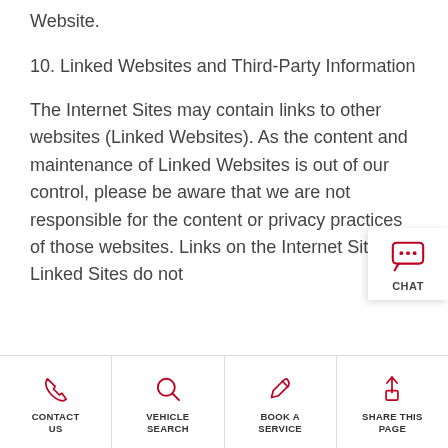Website.
10. Linked Websites and Third-Party Information
The Internet Sites may contain links to other websites (Linked Websites). As the content and maintenance of Linked Websites is out of our control, please be aware that we are not responsible for the content or privacy practices of those websites. Links on the Internet Sites to Linked Sites do not
CONTACT US | VEHICLE SEARCH | BOOK A SERVICE | SHARE THIS PAGE